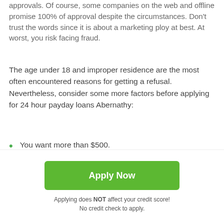approvals. Of course, some companies on the web and offline promise 100% of approval despite the circumstances. Don't trust the words since it is about a marketing ploy at best. At worst, you risk facing fraud.
The age under 18 and improper residence are the most often encountered reasons for getting a refusal. Nevertheless, consider some more factors before applying for 24 hour payday loans Abernathy:
You want more than $500.
You've already got a loan from another operator.
The term you need is under seven or over 31 days.
Apply Now
Applying does NOT affect your credit score!
No credit check to apply.